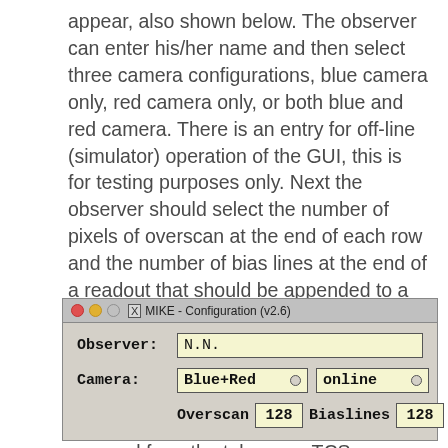appear, also shown below. The observer can enter his/her name and then select three camera configurations, blue camera only, red camera only, or both blue and red camera. There is an entry for off-line (simulator) operation of the GUI, this is for testing purposes only. Next the observer should select the number of pixels of overscan at the end of each row and the number of bias lines at the end of a readout that should be appended to a frame (128 in x and y is good). Finally the observer can select the telescope, and again an online or offline operation. If the telescope is online then telescope coordinates and various rotator angles are read from the telescope TCS.
[Figure (screenshot): A GUI configuration dialog titled 'MIKE - Configuration (v2.6)' with fields for Observer (N.N.), Camera (Blue+Red, online), Overscan (128), and Biaslines (128).]